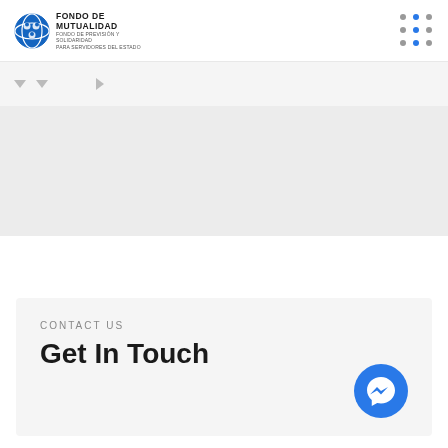[Figure (logo): Fondo de Mutualidad logo with globe icon and text]
[Figure (other): 3x3 dot grid navigation icon with blue and gray dots]
[Figure (other): Navigation bar with dropdown chevrons and arrow]
[Figure (other): Gray hero/banner area]
CONTACT US
Get In Touch
[Figure (other): Facebook Messenger chat button (blue circle with lightning bolt icon)]